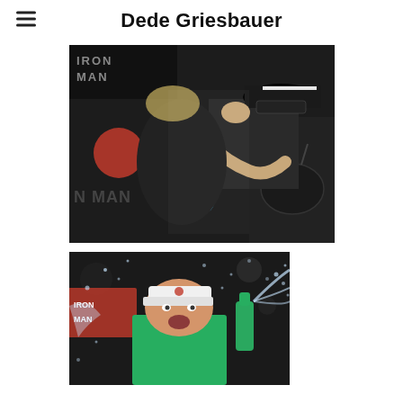Dede Griesbauer
[Figure (photo): Two people embracing in a hug at an Ironman event. One person wears a black cap and blue athletic top; the other wears a black outfit and holds a handbag. Ironman banner visible in background.]
[Figure (photo): Person wearing a white visor celebrating by spraying champagne or water at an Ironman event. Green top visible, Ironman signage in background.]